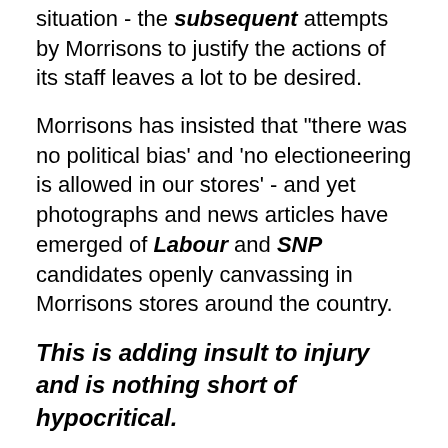situation - the subsequent attempts by Morrisons to justify the actions of its staff leaves a lot to be desired.
Morrisons has insisted that "there was no political bias' and 'no electioneering is allowed in our stores' - and yet photographs and news articles have emerged of Labour and SNP candidates openly canvassing in Morrisons stores around the country.
This is adding insult to injury and is nothing short of hypocritical.
We demand that Morrisons not only publicly apologises to the Brexit Party election candidate, but that it also issues a clear public statement to the effect that election candidates of all parties are expressly